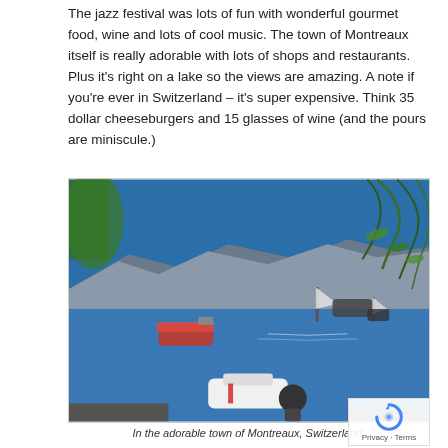The jazz festival was lots of fun with wonderful gourmet food, wine and lots of cool music. The town of Montreaux itself is really adorable with lots of shops and restaurants. Plus it's right on a lake so the views are amazing. A note if you're ever in Switzerland – it's super expensive. Think 35 dollar cheeseburgers and 15 glasses of wine (and the pours are miniscule.)
[Figure (photo): Photograph of Lake Geneva (Lac Léman) at Montreux, Switzerland. Sailboats and motorboats on the blue lake, with mountains in the background. Green willow tree branches hang from the upper right. A person can be seen in the lower foreground.]
In the adorable town of Montreaux, Switzerland.